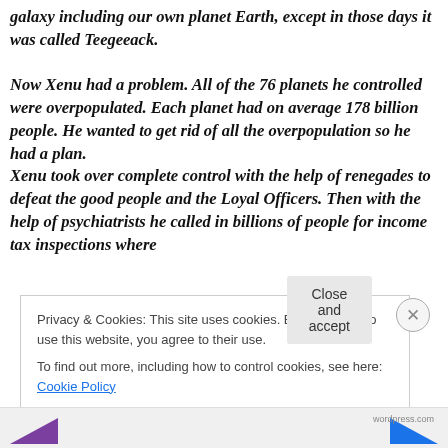galaxy including our own planet Earth, except in those days it was called Teegeeack.

Now Xenu had a problem. All of the 76 planets he controlled were overpopulated. Each planet had on average 178 billion people. He wanted to get rid of all the overpopulation so he had a plan.
Xenu took over complete control with the help of renegades to defeat the good people and the Loyal Officers. Then with the help of psychiatrists he called in billions of people for income tax inspections where
Privacy & Cookies: This site uses cookies. By continuing to use this website, you agree to their use.
To find out more, including how to control cookies, see here: Cookie Policy
Close and accept